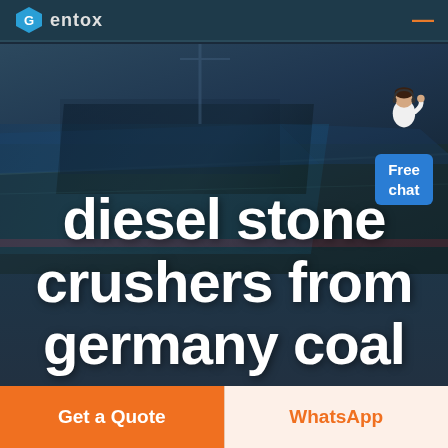Gentox
[Figure (photo): Aerial view of an industrial facility with large blue warehouse/factory rooftops and surrounding flat landscape, overlaid with dark tint]
[Figure (illustration): Free chat widget showing a person in white shirt with a blue speech bubble labeled 'Free chat']
diesel stone crushers from germany coal
Get a Quote
WhatsApp